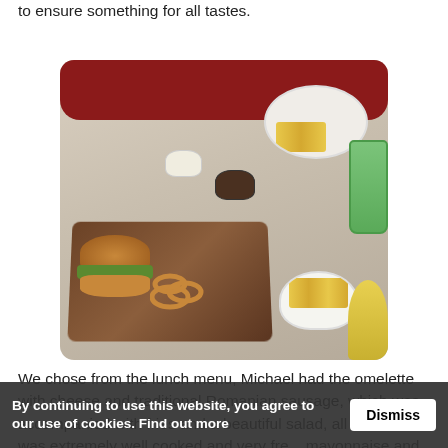to ensure something for all tastes.
[Figure (photo): A restaurant table with a wooden serving board containing a burger, onion rings, and a bowl of fries. A plate with an omelette, fries and salad is in the background. Two sauce cups (white mayonnaise and dark chilli sauce) are visible, along with green and yellow drinks on the right side.]
We chose from the lunch menu, Michael had the omelette with cheese and traditional Romanian sausage, which was accompanied with fries and a beautiful salad, all of which was extremely well cooked and very fre... mayonnaise and sweet chilli sauce.
By continuing to use this website, you agree to our use of cookies. Find out more   Dismiss